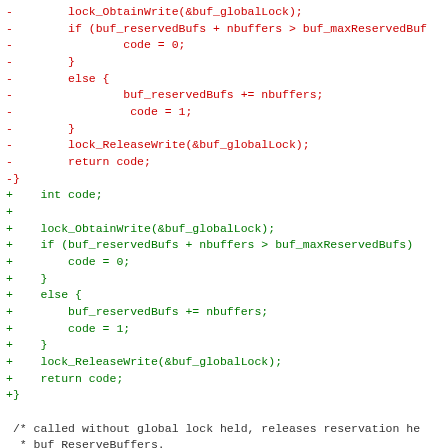[Figure (other): Code diff showing removed (red) and added (green) lines of C source code, followed by neutral context code including a comment and function signature for buf_UnreserveBuffers.]